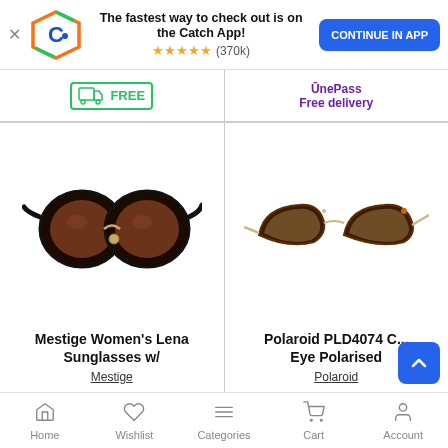[Figure (screenshot): App download banner with Catch logo, star rating (370k reviews), and CONTINUE IN APP button]
[Figure (screenshot): Free shipping badge (green truck icon) on left product card top strip]
OnePass
Free delivery
[Figure (photo): Mestige Women's Lena Sunglasses - round black frames with brown lenses]
Mestige Women's Lena Sunglasses w/
Mestige
[Figure (photo): Polaroid PLD4074 Cat Eye Polarised sunglasses - tortoiseshell cat-eye frames with brown lenses]
Polaroid PLD4074 C... Eye Polarised
Polaroid
Home  Wishlist  Categories  Cart  Account